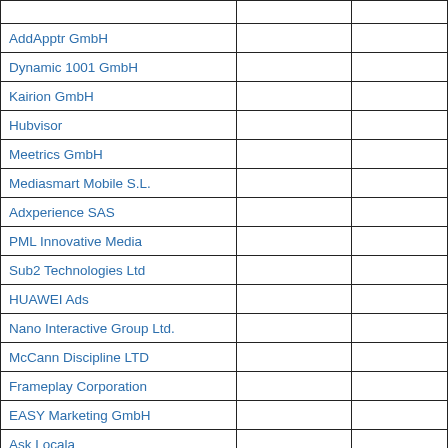| AddApptr GmbH |  |  |
| Dynamic 1001 GmbH |  |  |
| Kairion GmbH |  |  |
| Hubvisor |  |  |
| Meetrics GmbH |  |  |
| Mediasmart Mobile S.L. |  |  |
| Adxperience SAS |  |  |
| PML Innovative Media |  |  |
| Sub2 Technologies Ltd |  |  |
| HUAWEI Ads |  |  |
| Nano Interactive Group Ltd. |  |  |
| McCann Discipline LTD |  |  |
| Frameplay Corporation |  |  |
| EASY Marketing GmbH |  |  |
| Ask Locala |  |  |
| Vidazoo Ltd |  |  |
| Content Ignite |  |  |
| Liftoff Mobile, Inc. |  |  |
| Czech Publisher Exchange z.s.p.o. |  |  |
| diva-e products |  |  |